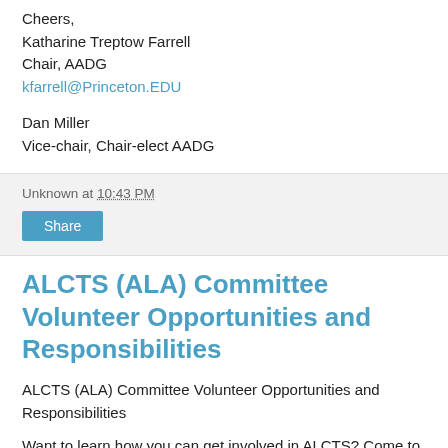Cheers,
Katharine Treptow Farrell
Chair, AADG
kfarrell@Princeton.EDU
Dan Miller
Vice-chair, Chair-elect AADG
Unknown at 10:43 PM
Share
ALCTS (ALA) Committee Volunteer Opportunities and Responsibilities
ALCTS (ALA) Committee Volunteer Opportunities and Responsibilities
Want to learn how you can get involved in ALCTS? Come to the third annual ALCTS Volunteer Forum, sponsored by the